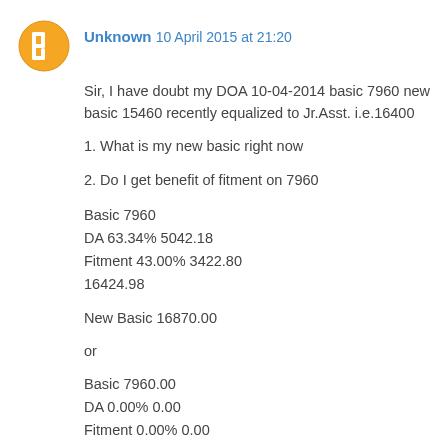Unknown  10 April 2015 at 21:20
Sir, I have doubt my DOA 10-04-2014 basic 7960 new basic 15460 recently equalized to Jr.Asst. i.e.16400
1. What is my new basic right now
2. Do I get benefit of fitment on 7960
Basic 7960
DA 63.34% 5042.18
Fitment 43.00% 3422.80
16424.98
New Basic 16870.00
or
Basic 7960.00
DA 0.00% 0.00
Fitment 0.00% 0.00